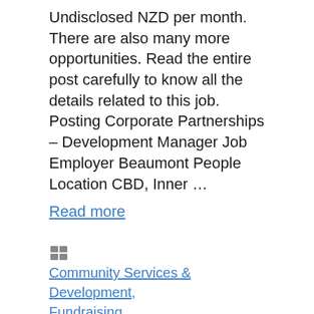Undisclosed NZD per month. There are also many more opportunities. Read the entire post carefully to know all the details related to this job. Posting Corporate Partnerships – Development Manager Job Employer Beaumont People Location CBD, Inner … Read more
Categories: Community Services & Development, Fundraising
Leave a comment
FOUNDATION MANAGER